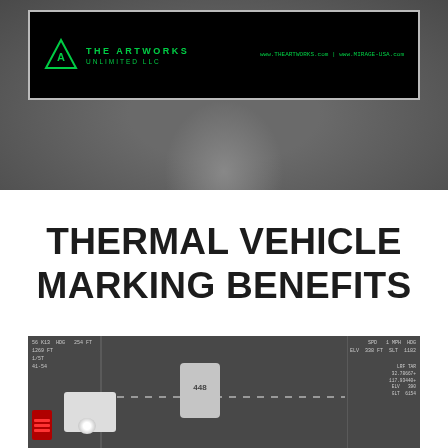[Figure (photo): Top portion: dark grey background with a company logo banner (The Artworks Unlimited LLC) on a black background with green text, showing website URLs www.THEARTWORKS.com and www.MIRAGE-USA.com. Below the banner is a grey area showing a blurred human silhouette.]
THERMAL VEHICLE MARKING BENEFITS
[Figure (photo): Thermal/infrared aerial camera view looking down at vehicles on a road at night. Shows two vehicles: a truck/van on the left and a car with number 448 on the right. HUD overlay text showing SPD 1 MPH, HDG, ELV 338 FT, SLT 1182, LRF TAR coordinates 32.78667, 117.93440, ELV 390, GLT 6154. Red status indicator in bottom left corner. Dashed center line visible on road.]